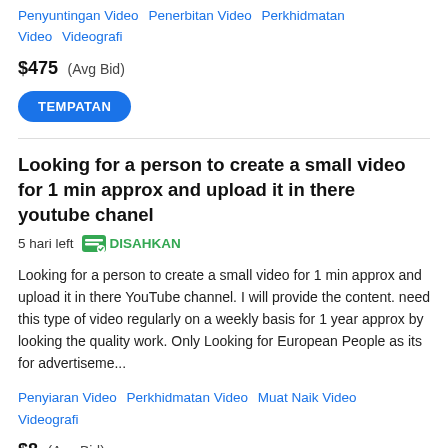Penyuntingan Video   Penerbitan Video   Perkhidmatan Video   Videografi
$475  (Avg Bid)
TEMPATAN
Looking for a person to create a small video for 1 min approx and upload it in there youtube chanel
5 hari left   DISAHKAN
Looking for a person to create a small video for 1 min approx and upload it in there YouTube channel. I will provide the content. need this type of video regularly on a weekly basis for 1 year approx by looking the quality work. Only Looking for European People as its for advertiseme...
Penyiaran Video   Perkhidmatan Video   Muat Naik Video   Videografi
$8  (Avg Bid)